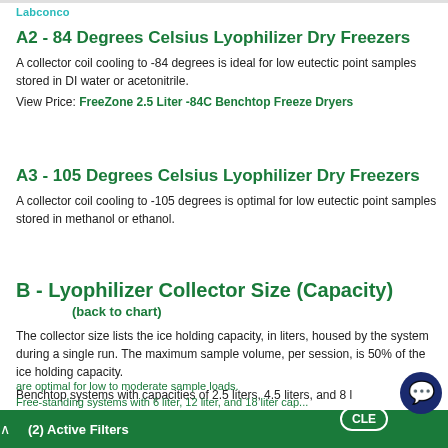Labconco
A2 - 84 Degrees Celsius Lyophilizer Dry Freezers
A collector coil cooling to -84 degrees is ideal for low eutectic point samples stored in DI water or acetonitrile.
View Price: FreeZone 2.5 Liter -84C Benchtop Freeze Dryers
A3 - 105 Degrees Celsius Lyophilizer Dry Freezers
A collector coil cooling to -105 degrees is optimal for low eutectic point samples stored in methanol or ethanol.
B - Lyophilizer Collector Size (Capacity)
(back to chart)
The collector size lists the ice holding capacity, in liters, housed by the system during a single run. The maximum sample volume, per session, is 50% of the ice holding capacity.
Benchtop systems with capacities of 2.5 liters, 4.5 liters, and 8 l...
(2) Active Filters  CLE...